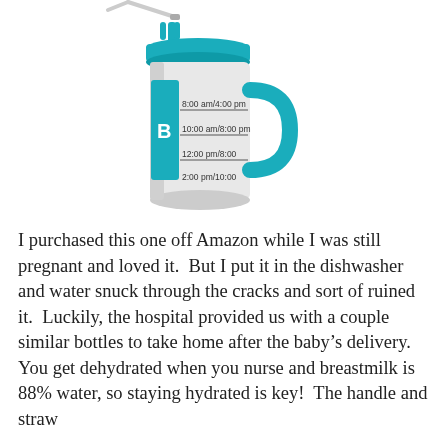[Figure (photo): A large teal and white insulated water bottle/mug with a teal lid, teal handle, and a straw with a clip. The white body of the mug shows time markings: 8:00 am/4:00 pm, 10:00 am/8:00 pm, 12:00 pm/8:00, 2:00 pm/10:00. There is a teal label area on the left side of the mug.]
I purchased this one off Amazon while I was still pregnant and loved it.  But I put it in the dishwasher and water snuck through the cracks and sort of ruined it.  Luckily, the hospital provided us with a couple similar bottles to take home after the baby's delivery.  You get dehydrated when you nurse and breastmilk is 88% water, so staying hydrated is key!  The handle and straw